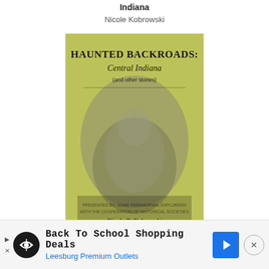Indiana
Nicole Kobrowski
[Figure (photo): Book cover of 'Haunted Backroads: Central Indiana (and other stories)' by Nicole R. Kobrowski. Yellow-green toned cover with ghostly figure imagery.]
Haunted Backroads: Central Indiana (and other stories)
Nicole R. Kobrowski
[Figure (photo): Book cover of 'Haunted Hoosier Halls Indiana University' showing a building with trees and greenery.]
Back To School Shopping Deals Leesburg Premium Outlets